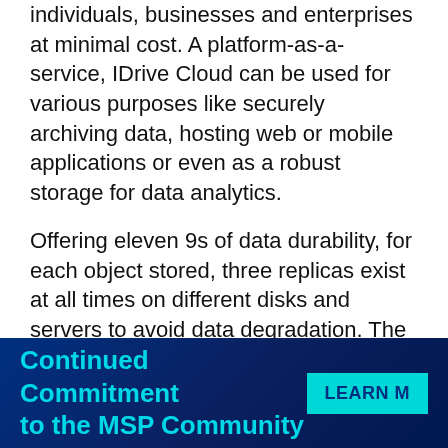individuals, businesses and enterprises at minimal cost. A platform-as-a-service, IDrive Cloud can be used for various purposes like securely archiving data, hosting web or mobile applications or even as a robust storage for data analytics.
Offering eleven 9s of data durability, for each object stored, three replicas exist at all times on different disks and servers to avoid data degradation. The stored data is always readily available via HTTPS and can be accessed and managed by using the Web Management Console. From this console, users can also stay updated on storage utilization, manage billing, create user accounts, and grant permissions
Continued Commitment to the MSP Community
LEARN M